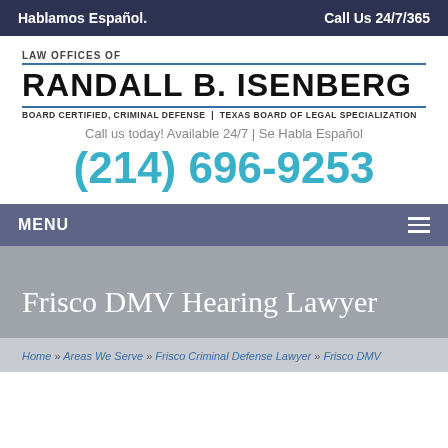Hablamos Español.    Call Us 24/7/365
[Figure (logo): Law Offices of Randall B. Isenberg logo with firm name, board certification line, availability text, and phone number (214) 696-9253]
MENU
Frisco DMV Hearing Lawyer
Home » Areas We Serve » Frisco Criminal Defense Lawyer » Frisco DMV